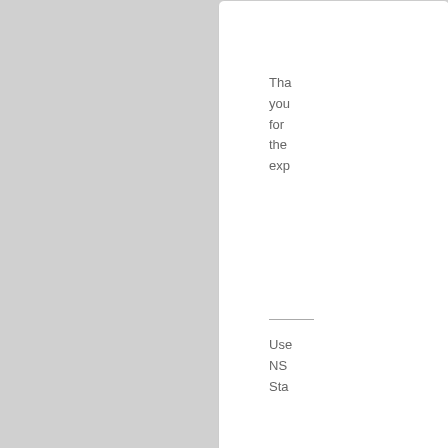Tha you for the exp
Use NS Sta
[Figure (illustration): Ex-Nation flag placeholder image with cross design and 'EX-NATION' text in gray]
San Carlos Islands
Diplomat

Posts: 536
Founded: Jun 28, 2018
Ex-Nation
QUOTE
by San Carlos Islands
» Fri May 31, 2019 8:33 am